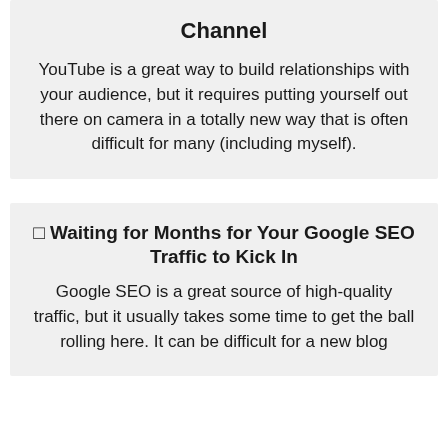Channel
YouTube is a great way to build relationships with your audience, but it requires putting yourself out there on camera in a totally new way that is often difficult for many (including myself).
⬜ Waiting for Months for Your Google SEO Traffic to Kick In
Google SEO is a great source of high-quality traffic, but it usually takes some time to get the ball rolling here. It can be difficult for a new blog